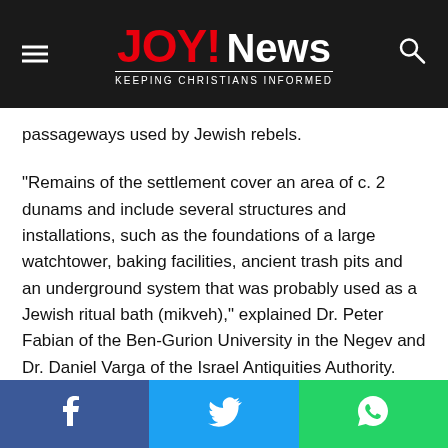JOY! News — KEEPING CHRISTIANS INFORMED
passageways used by Jewish rebels.
“Remains of the settlement cover an area of c. 2 dunams and include several structures and installations, such as the foundations of a large watchtower, baking facilities, ancient trash pits and an underground system that was probably used as a Jewish ritual bath (mikveh),” explained Dr. Peter Fabian of the Ben-Gurion University in the Negev and Dr. Daniel Varga of the Israel Antiquities Authority.
“Signs of a conflagration discovered in some of the structures evince a crisis that the settlement experienced, probably that of
Facebook  Twitter  WhatsApp